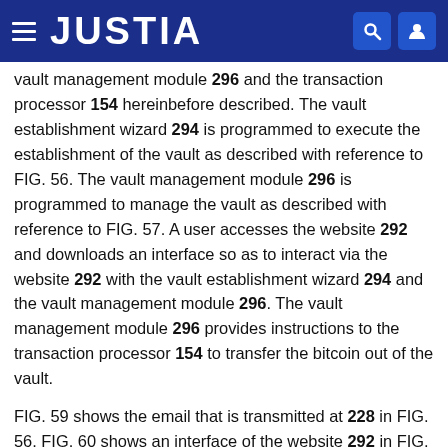JUSTIA
vault management module 296 and the transaction processor 154 hereinbefore described. The vault establishment wizard 294 is programmed to execute the establishment of the vault as described with reference to FIG. 56. The vault management module 296 is programmed to manage the vault as described with reference to FIG. 57. A user accesses the website 292 and downloads an interface so as to interact via the website 292 with the vault establishment wizard 294 and the vault management module 296. The vault management module 296 provides instructions to the transaction processor 154 to transfer the bitcoin out of the vault.
FIG. 59 shows the email that is transmitted at 228 in FIG. 56. FIG. 60 shows an interface of the website 292 in FIG. 58 when the user requests a transfer out of a vault at 262 in FIG. 57. FIGS. 61 and 62 show the emails that are...